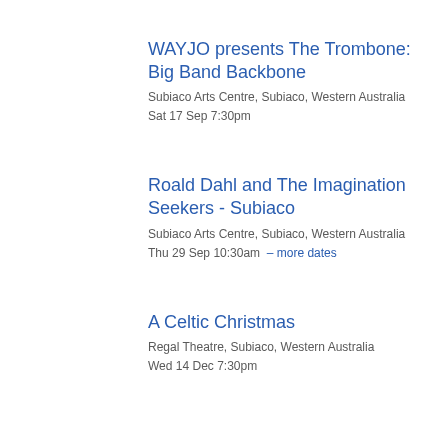WAYJO presents The Trombone: Big Band Backbone
Subiaco Arts Centre, Subiaco, Western Australia
Sat 17 Sep 7:30pm
Roald Dahl and The Imagination Seekers - Subiaco
Subiaco Arts Centre, Subiaco, Western Australia
Thu 29 Sep 10:30am  – more dates
A Celtic Christmas
Regal Theatre, Subiaco, Western Australia
Wed 14 Dec 7:30pm